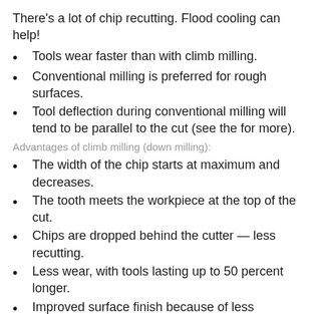There's a lot of chip recutting. Flood cooling can help!
Tools wear faster than with climb milling.
Conventional milling is preferred for rough surfaces.
Tool deflection during conventional milling will tend to be parallel to the cut (see the for more).
Advantages of climb milling (down milling):
The width of the chip starts at maximum and decreases.
The tooth meets the workpiece at the top of the cut.
Chips are dropped behind the cutter — less recutting.
Less wear, with tools lasting up to 50 percent longer.
Improved surface finish because of less recutting.
Less power required.